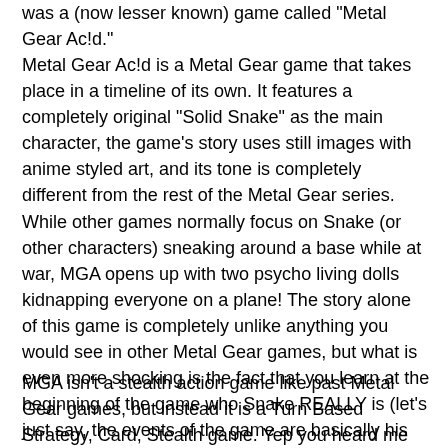was a (now lesser known) game called "Metal Gear Ac!d."
Metal Gear Ac!d is a Metal Gear game that takes place in a timeline of its own. It features a completely original "Solid Snake" as the main character, the game's story uses still images with anime styled art, and its tone is completely different from the rest of the Metal Gear series. While other games normally focus on Snake (or other characters) sneaking around a base while at war, MGA opens up with two psycho living dolls kidnapping everyone on a plane! The story alone of this game is completely unlike anything you would see in other Metal Gear games, but what is even more shocking is the fact that you learn at the beginning of the game who Snake REALLY is (let's just say, the events of the game are basically his fault). Still the strangeness of the game's story doesn't even come close to comparing with the game's actual gameplay!
MGA isn't a stealth action game like past Metal Gear games, but instead it is a Turn Based Strategy, Card, Stealth game. Yep you heard me right. The game is a turn based game that takes place on a grid, and each "player" (in this case you